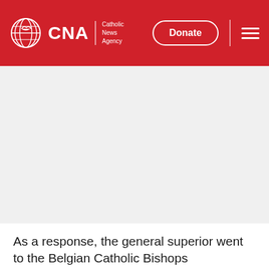CNA | Catholic News Agency — Donate
[Figure (photo): Large image placeholder area, light gray background, appears to be a news article image]
As a response, the general superior went to the Belgian Catholic Bishops Conference and asked that they back him in the debate. When the